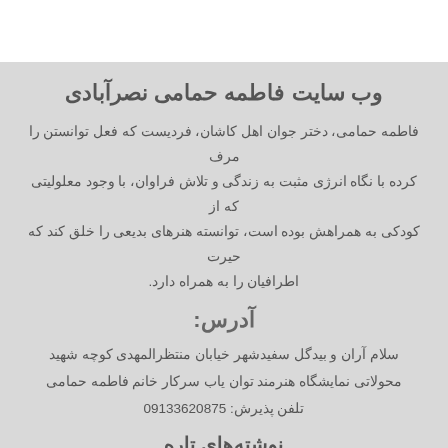وب سایت فاطمه حمامی نصرآبادی
فاطمه حمامی، دختر جوان اهل کاشان، فردیست که فعل توانستن را مرف کرده با نگاه انرژی مثبت به زندگی و تلاش فراوان، با وجود معلولیتی که از کودکی به همراهش بوده است، توانسته هنرهای بدیعی را خلق کند که حیرت اطرافیان را به همراه دارد.
آدرس:
سلام آران و بیدگل سفیدشهر خیابان منتظرالمهدی کوچه شهید محولاتی نمایشگاه هنرمند توان یاب سرکار خانم فاطمه حمامی
تلفن پذیرش: 09133620875
نوشته‌های تاره